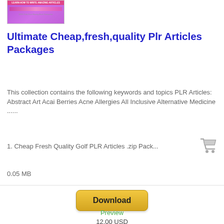[Figure (illustration): Product thumbnail image with purple/pink gradient background and a red/pink banner bar at top, with small gray text reading '100% Risk-Free Money-Back Guarantee' at bottom]
Ultimate Cheap,fresh,quality Plr Articles Packages
This collection contains the following keywords and topics PLR Articles: Abstract Art Acai Berries Acne Allergies All Inclusive Alternative Medicine ......
1. Cheap Fresh Quality Golf PLR Articles .zip Pack...
0.05 MB
Download
Preview
12.00 USD